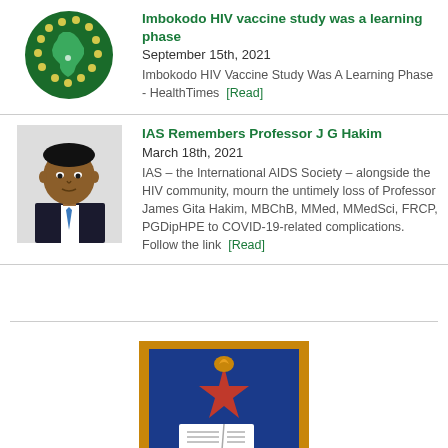[Figure (logo): Green Africa continent icon with yellow dots on dark green circle background]
Imbokodo HIV vaccine study was a learning phase
September 15th, 2021
Imbokodo HIV Vaccine Study Was A Learning Phase - HealthTimes [Read]
[Figure (photo): Portrait photo of Professor J G Hakim, a man in a suit and tie]
IAS Remembers Professor J G Hakim
March 18th, 2021
IAS – the International AIDS Society – alongside the HIV community, mourn the untimely loss of Professor James Gita Hakim, MBChB, MMed, MMedSci, FRCP, PGDipHPE to COVID-19-related complications. Follow the link [Read]
[Figure (logo): University of Zimbabwe crest/coat of arms shield with blue background, red star, open book, and stone wall base, with blue laurel branches on either side]